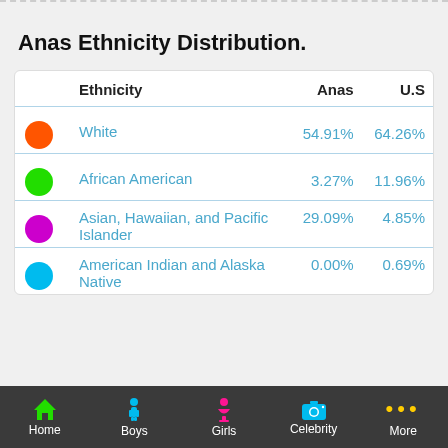Anas Ethnicity Distribution.
| Ethnicity | Anas | U.S |
| --- | --- | --- |
| White | 54.91% | 64.26% |
| African American | 3.27% | 11.96% |
| Asian, Hawaiian, and Pacific Islander | 29.09% | 4.85% |
| American Indian and Alaska Native | 0.00% | 0.69% |
Home  Boys  Girls  Celebrity  More